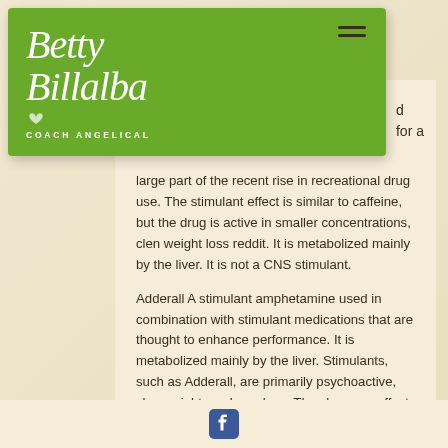[Figure (logo): Betty Billalba Coach Angelical logo on green background with hamburger menu icon]
d for a large part of the recent rise in recreational drug use. The stimulant effect is similar to caffeine, but the drug is active in smaller concentrations, clen weight loss reddit. It is metabolized mainly by the liver. It is not a CNS stimulant.
Adderall A stimulant amphetamine used in combination with stimulant medications that are thought to enhance performance. It is metabolized mainly by the liver. Stimulants, such as Adderall, are primarily psychoactive, clen weight week per loss. They have no effect on the central nervous system and
Facebook icon